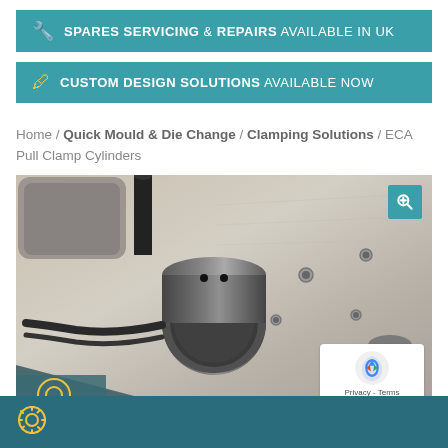🔧 SPARES SERVICING & REPAIRS AVAILABLE IN UK
🖊 CUSTOM DESIGN SOLUTIONS AVAILABLE NOW
Home / Quick Mould & Die Change / Clamping Solutions / ECA Pull Clamp Cylinders
[Figure (photo): Close-up photograph of industrial ECA pull clamp cylinders mounted on a metal die/mould plate, showing hydraulic cylinder bodies, hoses, and machined metal surfaces.]